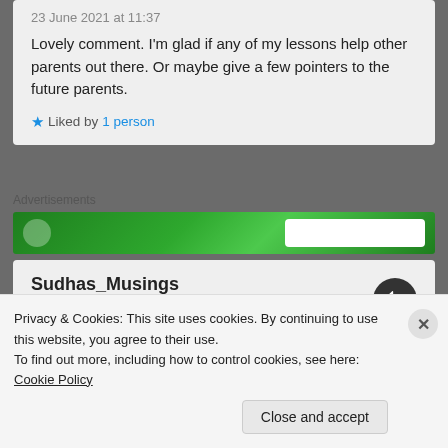23 June 2021 at 11:37
Lovely comment. I'm glad if any of my lessons help other parents out there. Or maybe give a few pointers to the future parents.
Liked by 1 person
Advertisements
[Figure (other): Green advertisement banner with white button on the right]
Sudhas_Musings
17 July 2021 at 12:32
Privacy & Cookies: This site uses cookies. By continuing to use this website, you agree to their use.
To find out more, including how to control cookies, see here: Cookie Policy
Close and accept